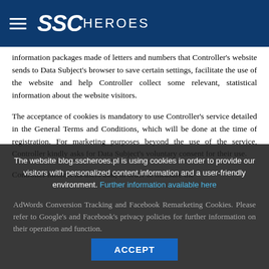SSC HEROES
information packages made of letters and numbers that Controller's website sends to Data Subject's browser to save certain settings, facilitate the use of the website and help Controller collect some relevant, statistical information about the website visitors.
The acceptance of cookies is mandatory to use Controller's service detailed in the General Terms and Conditions, which will be done at the time of registration. For marketing purposes beyond the use of the service, Controller kindly asks for Data Subject's voluntary consent for their use.
Controller informs its users that, in order to measure the attendance of its website family.towship.com, sscheroes.com, the...
The website blog.sscheroes.pl is using cookies in order to provide our visitors with personalized content,information and a user-friendly environment. Further information available here
AdWords Conversion Tracking and Facebook Remarketing Cookies. Please refer to Google's and Facebook's privacy policies for further information on their operation and function.